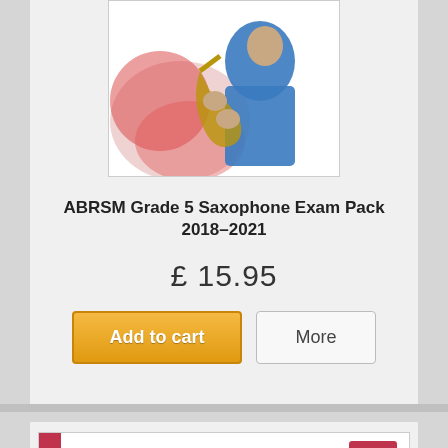[Figure (photo): Book cover showing a saxophone player in blue jacket with red/pink splashes]
ABRSM Grade 5 Saxophone Exam Pack 2018–2021
£ 15.95
[Figure (screenshot): Add to cart and More buttons]
[Figure (photo): Second product: ABRSM Saxophone Exam Pieces 2018-2021 book cover with number 5 and blue sphere]